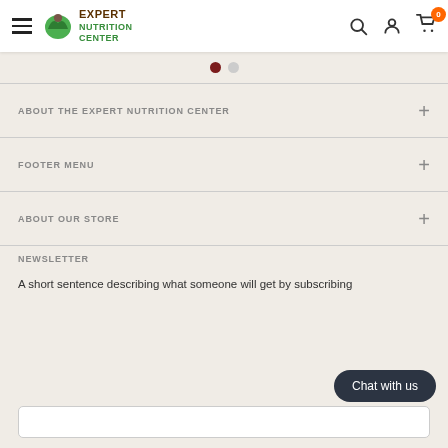Expert Nutrition Center
ABOUT THE EXPERT NUTRITION CENTER
FOOTER MENU
ABOUT OUR STORE
NEWSLETTER
A short sentence describing what someone will get by subscribing
[Figure (screenshot): Email subscription input field]